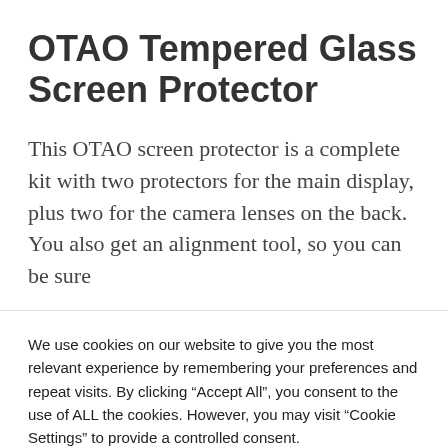OTAO Tempered Glass Screen Protector
This OTAO screen protector is a complete kit with two protectors for the main display, plus two for the camera lenses on the back. You also get an alignment tool, so you can be sure
We use cookies on our website to give you the most relevant experience by remembering your preferences and repeat visits. By clicking “Accept All”, you consent to the use of ALL the cookies. However, you may visit “Cookie Settings” to provide a controlled consent.
Cookie Settings | Accept All